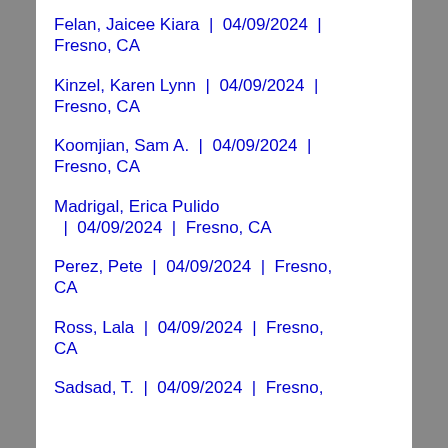Felan, Jaicee Kiara  |  04/09/2024  |  Fresno, CA
Kinzel, Karen Lynn  |  04/09/2024  |  Fresno, CA
Koomjian, Sam A.  |  04/09/2024  |  Fresno, CA
Madrigal, Erica Pulido  |  04/09/2024  |  Fresno, CA
Perez, Pete  |  04/09/2024  |  Fresno, CA
Ross, Lala  |  04/09/2024  |  Fresno, CA
Sadsad, T.  |  04/09/2024  |  Fresno,